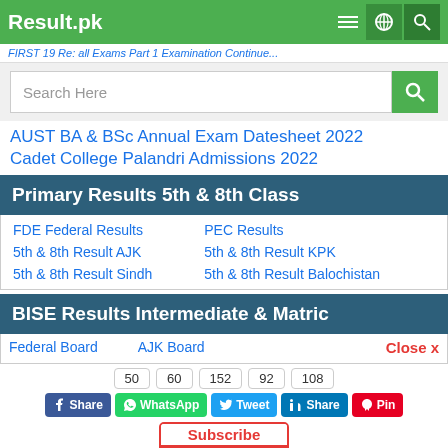Result.pk
FIRST 19 Re: all Exams Part 1 Examination Continue…
Search Here
AUST BA & BSc Annual Exam Datesheet 2022
Cadet College Palandri Admissions 2022
Primary Results 5th & 8th Class
FDE Federal Results
PEC Results
5th & 8th Result AJK
5th & 8th Result KPK
5th & 8th Result Sindh
5th & 8th Result Balochistan
BISE Results Intermediate & Matric
Federal Board
AJK Board
Close x
50  60  152  92  108
Share  WhatsApp  Tweet  Share  Pin
Subscribe  YouTube
Admissions | News | Scholarships | Schools | Colleges | Merit Calculator | Ranking
Sargodha Board  Sahiwal Board